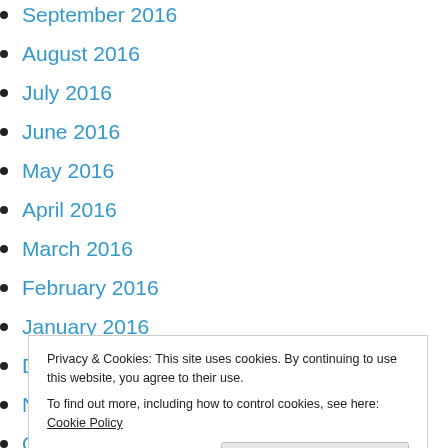September 2016
August 2016
July 2016
June 2016
May 2016
April 2016
March 2016
February 2016
January 2016
December 2015
November 2015
October 2015
Privacy & Cookies: This site uses cookies. By continuing to use this website, you agree to their use. To find out more, including how to control cookies, see here: Cookie Policy
May 2015